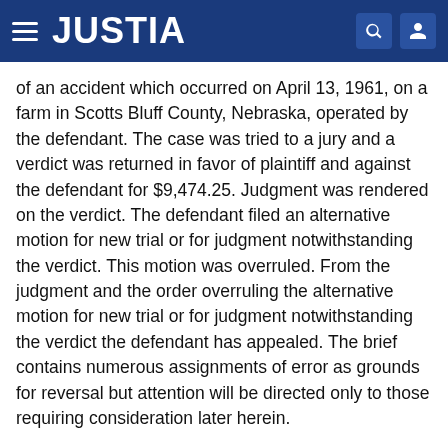JUSTIA
of an accident which occurred on April 13, 1961, on a farm in Scotts Bluff County, Nebraska, operated by the defendant. The case was tried to a jury and a verdict was returned in favor of plaintiff and against the defendant for $9,474.25. Judgment was rendered on the verdict. The defendant filed an alternative motion for new trial or for judgment notwithstanding the verdict. This motion was overruled. From the judgment and the order overruling the alternative motion for new trial or for judgment notwithstanding the verdict the defendant has appealed. The brief contains numerous assignments of error as grounds for reversal but attention will be directed only to those requiring consideration later herein.
There is no substantial dispute as to the facts which must be regarded as controlling in the determination